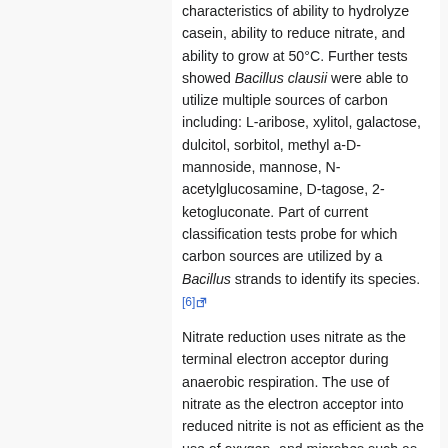characteristics of ability to hydrolyze casein, ability to reduce nitrate, and ability to grow at 50°C. Further tests showed Bacillus clausii were able to utilize multiple sources of carbon including: L-aribose, xylitol, galactose, dulcitol, sorbitol, methyl a-D-mannoside, mannose, N-acetylglucosamine, D-tagose, 2-ketogluconate. Part of current classification tests probe for which carbon sources are utilized by a Bacillus strands to identify its species. [6]
Nitrate reduction uses nitrate as the terminal electron acceptor during anaerobic respiration. The use of nitrate as the electron acceptor into reduced nitrite is not as efficient as the use of oxygen- and microbes such as B. clausii will prefer the use of oxygen over nitrate in terms of energy production. But in environments of low oxygen such as soil, where B. clausii is usually found, nitrate reduction can be used to keep electron transport in operation to maintain an electron gradient for ATP synthesis. [7]
Ecology